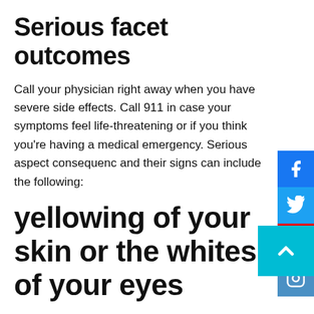Serious facet outcomes
Call your physician right away when you have severe side effects. Call 911 in case your symptoms feel life-threatening or if you think you're having a medical emergency. Serious aspect consequences and their signs can include the following:
yellowing of your skin or the whites of your eyes
Disclaimer: Our purpose is to offer you the maximum relevant and contemporary information. However, due to the fact drugs have an effect all of us in a different way, we can't guarantee that these facts include all feasible side effects. This record isn't always an alternative choice to the